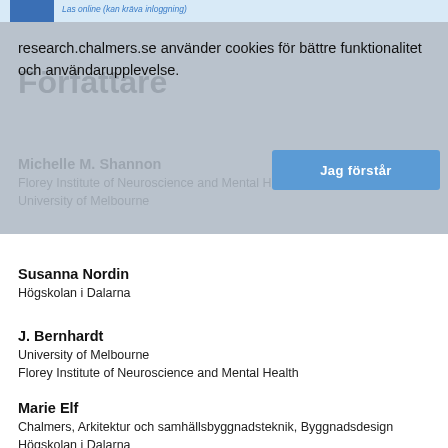Las online (kan kräva inloggning)
research.chalmers.se använder cookies för bättre funktionalitet och användarupplevelse.
Författare
Jag förstår
Michelle M. Shannon
Florey Institute of Neuroscience and Mental Health
University of Melbourne
Susanna Nordin
Högskolan i Dalarna
J. Bernhardt
University of Melbourne
Florey Institute of Neuroscience and Mental Health
Marie Elf
Chalmers, Arkitektur och samhällsbyggnadsteknik, Byggnadsdesign
Högskolan i Dalarna